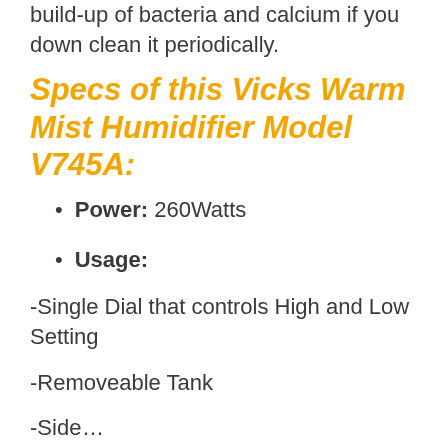build-up of bacteria and calcium if you down clean it periodically.
Specs of this Vicks Warm Mist Humidifier Model V745A:
Power: 260Watts
Usage:
-Single Dial that controls High and Low Setting
-Removeable Tank
-Side…